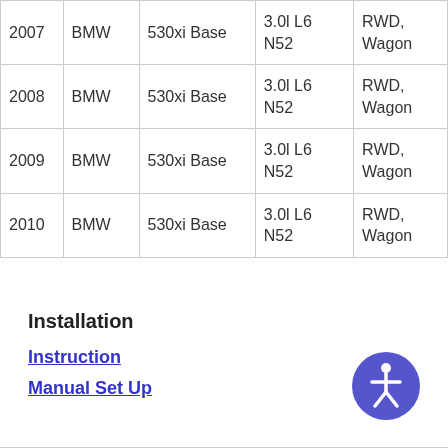| Year | Make | Model | Engine | Drive/Body |
| --- | --- | --- | --- | --- |
| 2007 | BMW | 530xi Base | 3.0l L6 N52 | RWD, Wagon |
| 2008 | BMW | 530xi Base | 3.0l L6 N52 | RWD, Wagon |
| 2009 | BMW | 530xi Base | 3.0l L6 N52 | RWD, Wagon |
| 2010 | BMW | 530xi Base | 3.0l L6 N52 | RWD, Wagon |
Installation
Instruction
Manual Set Up
[Figure (illustration): Accessibility/wheelchair icon button in purple circle]